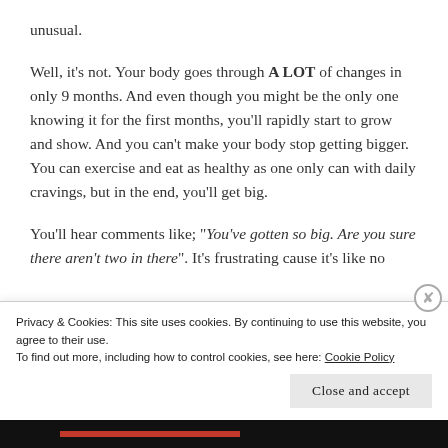unusual.
Well, it’s not. Your body goes through A LOT of changes in only 9 months. And even though you might be the only one knowing it for the first months, you’ll rapidly start to grow and show. And you can’t make your body stop getting bigger. You can exercise and eat as healthy as one only can with daily cravings, but in the end, you’ll get big.
You’ll hear comments like; “You’ve gotten so big. Are you sure there aren’t two in there”. It’s frustrating cause it’s like no
Privacy & Cookies: This site uses cookies. By continuing to use this website, you agree to their use.
To find out more, including how to control cookies, see here: Cookie Policy
Close and accept